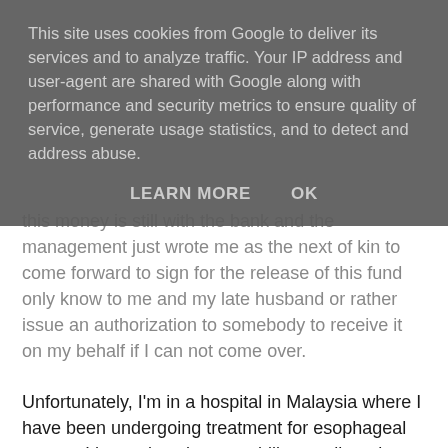This site uses cookies from Google to deliver its services and to analyze traffic. Your IP address and user-agent are shared with Google along with performance and security metrics to ensure quality of service, generate usage statistics, and to detect and address abuse.
LEARN MORE    OK
this money is still with the bank and the management just wrote me as the next of kin to come forward to sign for the release of this fund only know to me and my late husband or rather issue an authorization to somebody to receive it on my behalf if I can not come over.
Unfortunately, I'm in a hospital in Malaysia where I have been undergoing treatment for esophageal cancer. I have since lost my ability to talk and my doctors have told me that I have only a few months to live. It is my last wish to see this money distributed to charitable organizations any where in the World. Because relatives and friends have plundered so much of my wealth since my illness, I cannot live with the agony of entrusting this huge responsibility to any of them.